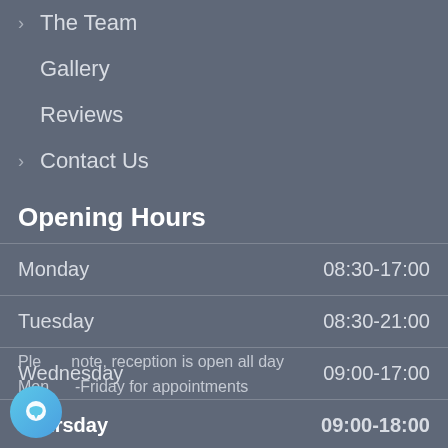The Team
Gallery
Reviews
Contact Us
Opening Hours
| Day | Hours |
| --- | --- |
| Monday | 08:30-17:00 |
| Tuesday | 08:30-21:00 |
| Wednesday | 09:00-17:00 |
| Thursday | 09:00-18:00 |
| Friday | 09:00-16:00 |
| Saturday | VOICEMAIL ONLY |
Please note, reception is open all day Monday-Friday for appointments